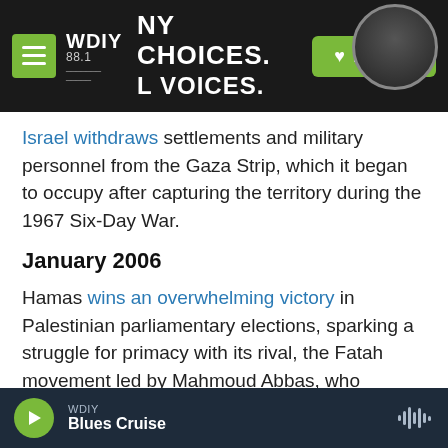WDIY 88.1 — MANY CHOICES. LOCAL VOICES. | Donate
Israel withdraws settlements and military personnel from the Gaza Strip, which it began to occupy after capturing the territory during the 1967 Six-Day War.
January 2006
Hamas wins an overwhelming victory in Palestinian parliamentary elections, sparking a struggle for primacy with its rival, the Fatah movement led by Mahmoud Abbas, who remains president of the Palestinian Authority to this day. Fatah is much
WDIY — Blues Cruise